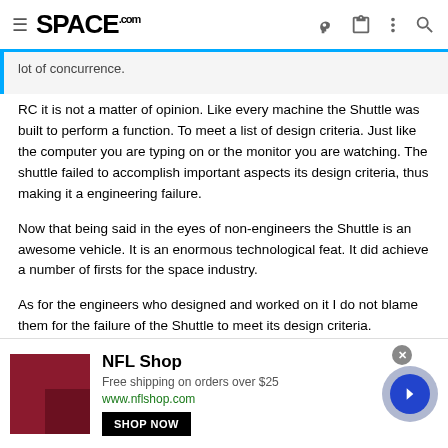SPACE.com
lot of concurrence.
RC it is not a matter of opinion. Like every machine the Shuttle was built to perform a function. To meet a list of design criteria. Just like the computer you are typing on or the monitor you are watching. The shuttle failed to accomplish important aspects its design criteria, thus making it a engineering failure.
Now that being said in the eyes of non-engineers the Shuttle is an awesome vehicle. It is an enormous technological feat. It did achieve a number of firsts for the space industry.
As for the engineers who designed and worked on it I do not blame them for the failure of the Shuttle to meet its design criteria.
[Figure (screenshot): NFL Shop advertisement banner with shop now button, free shipping offer, and navigation arrow]